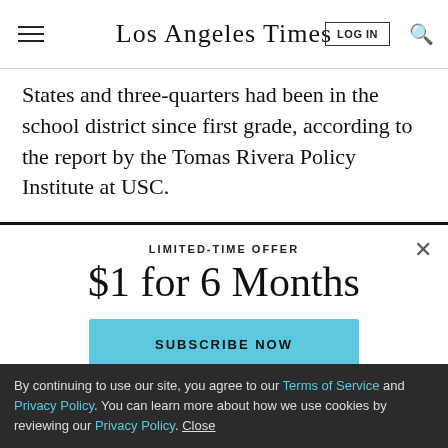Los Angeles Times
States and three-quarters had been in the school district since first grade, according to the report by the Tomas Rivera Policy Institute at USC.
LIMITED-TIME OFFER
$1 for 6 Months
SUBSCRIBE NOW
By continuing to use our site, you agree to our Terms of Service and Privacy Policy. You can learn more about how we use cookies by reviewing our Privacy Policy. Close